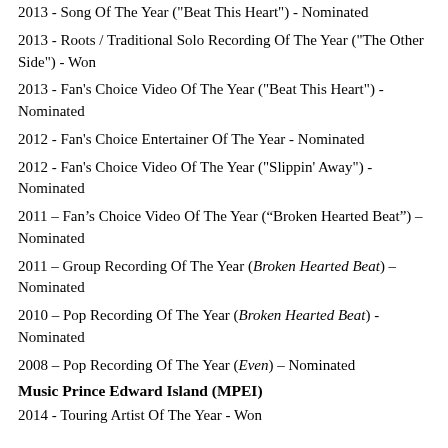2013 - Song Of The Year ("Beat This Heart") - Nominated
2013 - Roots / Traditional Solo Recording Of The Year ("The Other Side") - Won
2013 - Fan's Choice Video Of The Year ("Beat This Heart") - Nominated
2012 - Fan's Choice Entertainer Of The Year - Nominated
2012 - Fan's Choice Video Of The Year ("Slippin' Away") - Nominated
2011 – Fan's Choice Video Of The Year (“Broken Hearted Beat”) – Nominated
2011 – Group Recording Of The Year (Broken Hearted Beat) – Nominated
2010 – Pop Recording Of The Year (Broken Hearted Beat) - Nominated
2008 – Pop Recording Of The Year (Even) – Nominated
Music Prince Edward Island (MPEI)
2014 - Touring Artist Of The Year - Won